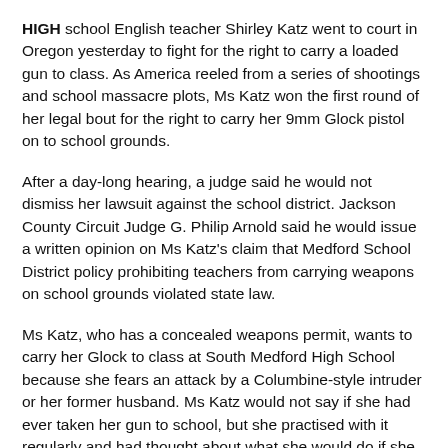HIGH school English teacher Shirley Katz went to court in Oregon yesterday to fight for the right to carry a loaded gun to class. As America reeled from a series of shootings and school massacre plots, Ms Katz won the first round of her legal bout for the right to carry her 9mm Glock pistol on to school grounds.
After a day-long hearing, a judge said he would not dismiss her lawsuit against the school district. Jackson County Circuit Judge G. Philip Arnold said he would issue a written opinion on Ms Katz's claim that Medford School District policy prohibiting teachers from carrying weapons on school grounds violated state law.
Ms Katz, who has a concealed weapons permit, wants to carry her Glock to class at South Medford High School because she fears an attack by a Columbine-style intruder or her former husband. Ms Katz would not say if she had ever taken her gun to school, but she practised with it regularly and had thought about what she would do if she had to confront a gunman. She would be sure students were locked in nearby offices out of the line of fire, and she would be